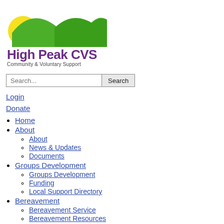[Figure (logo): High Peak CVS logo with yellow sun and green hills, text 'High Peak CVS Community & Voluntary Support']
Search... [input] Search [button]
Login
Donate
Home
About
About (sub)
News & Updates
Documents
Groups Development
Groups Development (sub)
Funding
Local Support Directory
Bereavement
Bereavement Service
Bereavement Resources
Coronavirus Bereavement Support
Social Prescribing